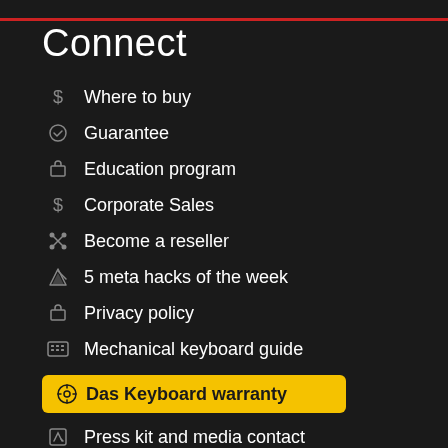Connect
Where to buy
Guarantee
Education program
Corporate Sales
Become a reseller
5 meta hacks of the week
Privacy policy
Mechanical keyboard guide
Das Keyboard warranty
Press kit and media contact
Switch comparison
Blog